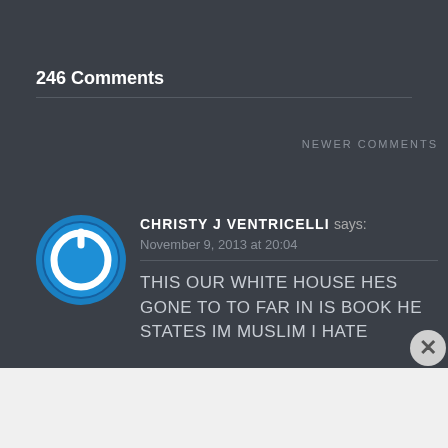246 Comments
NEWER COMMENTS
CHRISTY J VENTRICELLI says:
November 9, 2013 at 20:04
THIS OUR WHITE HOUSE HES GONE TO TO FAR IN IS BOOK HE STATES IM MUSLIM I HATE
[Figure (illustration): Blue circular power button avatar icon]
Advertisements
DAY ONE - The only journaling app you'll ever need.